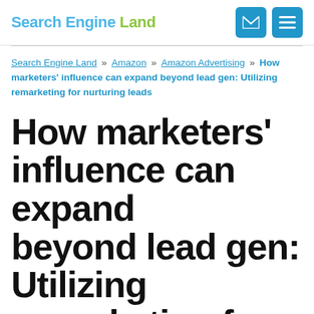Search Engine Land
Search Engine Land » Amazon » Amazon Advertising » How marketers' influence can expand beyond lead gen: Utilizing remarketing for nurturing leads
How marketers' influence can expand beyond lead gen: Utilizing remarketing for nurturing leads